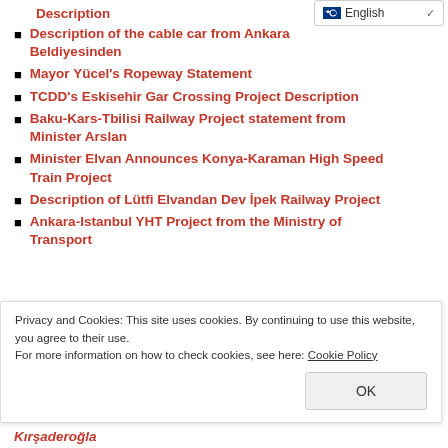Description
Description of the cable car from Ankara Beldiyesinden
Mayor Yücel's Ropeway Statement
TCDD's Eskisehir Gar Crossing Project Description
Baku-Kars-Tbilisi Railway Project statement from Minister Arslan
Minister Elvan Announces Konya-Karaman High Speed Train Project
Description of Lütfi Elvandan Dev İpek Railway Project
Ankara-Istanbul YHT Project from the Ministry of Transport
Privacy and Cookies: This site uses cookies. By continuing to use this website, you agree to their use. For more information on how to check cookies, see here: Cookie Policy
Kırşaderoğla